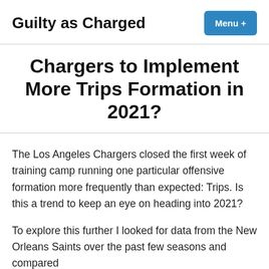Guilty as Charged
Chargers to Implement More Trips Formation in 2021?
The Los Angeles Chargers closed the first week of training camp running one particular offensive formation more frequently than expected: Trips. Is this a trend to keep an eye on heading into 2021?
To explore this further I looked for data from the New Orleans Saints over the past few seasons and compared